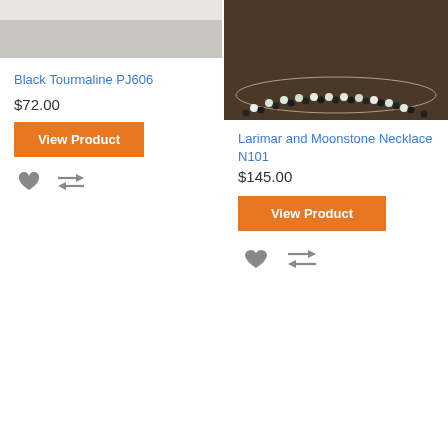[Figure (photo): Partial product image for Black Tourmaline PJ606 - gray/light colored jewelry item, top cropped]
[Figure (photo): Partial product image for Larimar and Moonstone Necklace N101 - dark background with white and dark beads forming a necklace]
Black Tourmaline PJ606
$72.00
View Product
Larimar and Moonstone Necklace N101
$145.00
View Product